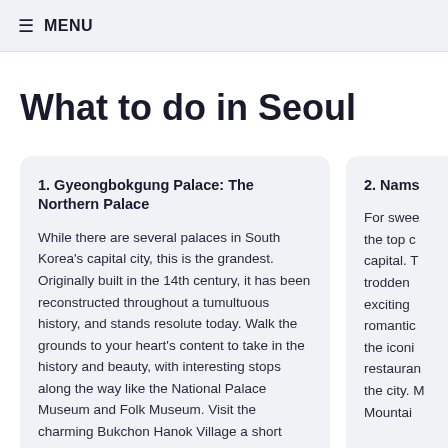≡ MENU
What to do in Seoul
1. Gyeongbokgung Palace: The Northern Palace
While there are several palaces in South Korea's capital city, this is the grandest. Originally built in the 14th century, it has been reconstructed throughout a tumultuous history, and stands resolute today. Walk the grounds to your heart's content to take in the history and beauty, with interesting stops along the way like the National Palace Museum and Folk Museum. Visit the charming Bukchon Hanok Village a short walk away to extend the immersion into Korean
2. Nams…
For swee… the top c… capital. T… trodden … exciting … romantic… the iconi… restauran… the city. M… Mountai…